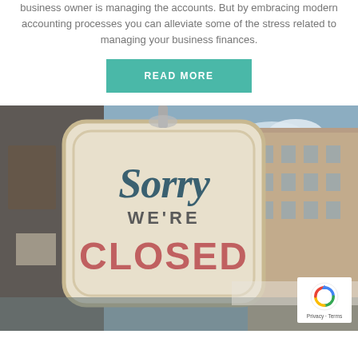business owner is managing the accounts. But by embracing modern accounting processes you can alleviate some of the stress related to managing your business finances.
READ MORE
[Figure (photo): A vintage 'Sorry We're Closed' sign hanging in a shop window, with an urban street and buildings visible in the background.]